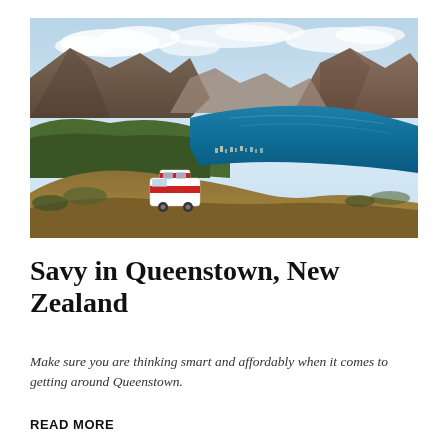[Figure (photo): Aerial view of Queenstown, New Zealand with a vivid blue lake surrounded by mountains. A white and red campervan is parked on a hillside in the foreground, with the town visible along the lakeshore and snow-capped mountains in the background under a partly cloudy sky.]
Savy in Queenstown, New Zealand
Make sure you are thinking smart and affordably when it comes to getting around Queenstown.
READ MORE